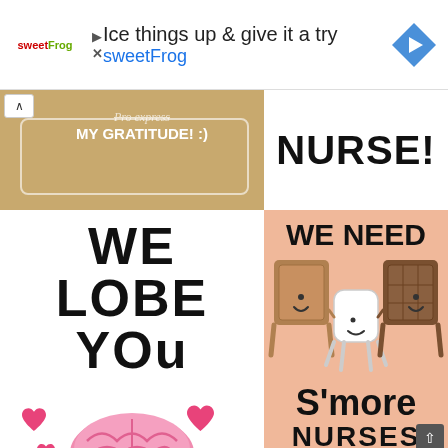[Figure (screenshot): Advertisement banner for sweetFrog with text 'Ice things up & give it a try sweetFrog', sweetFrog logo, play and close buttons, and a blue diamond navigation icon]
[Figure (illustration): Tan/brown card with text 'MY GRATITUDE! :)' in white with a decorative border, partially visible]
[Figure (illustration): White background with large bold text 'NURSE!']
[Figure (illustration): White background with large bold text 'WE LOBE YOU' and a cute pink cartoon brain with pink hearts around it]
[Figure (illustration): Peach/salmon background with text 'WE NEED' at top, cartoon s'mores characters (graham crackers, marshmallow), and text 'S'more NURSES' at bottom]